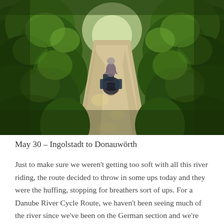[Figure (photo): A cyclist with heavily loaded panniers riding away from the camera down a narrow dirt/gravel path through a dense green forest. Sunlight filters through the lush green foliage on both sides of the trail.]
May 30 – Ingolstadt to Donauwörth
Just to make sure we weren't getting too soft with all this river riding, the route decided to throw in some ups today and they were the huffing, stopping for breathers sort of ups. For a Danube River Cycle Route, we haven't been seeing much of the river since we've been on the German section and we're